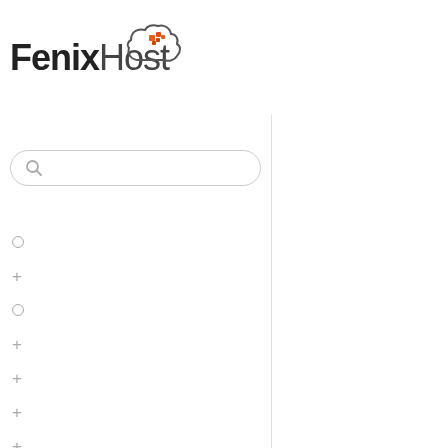[Figure (logo): FenixHost logo with cloud icon containing orange/red squares, bold Fenix followed by lighter Host text]
[Figure (screenshot): Search bar with magnifying glass icon, rounded rectangle border]
○
+
○
+
+
+
+
+
+
+